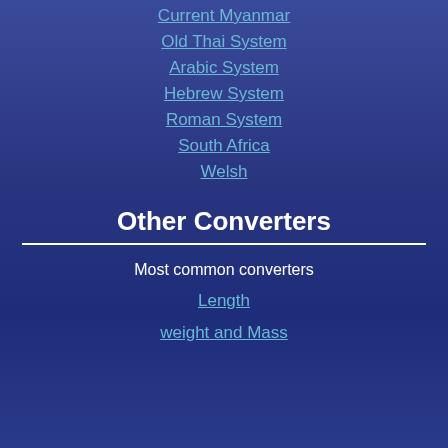Current Myanmar
Old Thai System
Arabic System
Hebrew System
Roman System
South Africa
Welsh
Other Converters
Most common converters
Length
weight and Mass